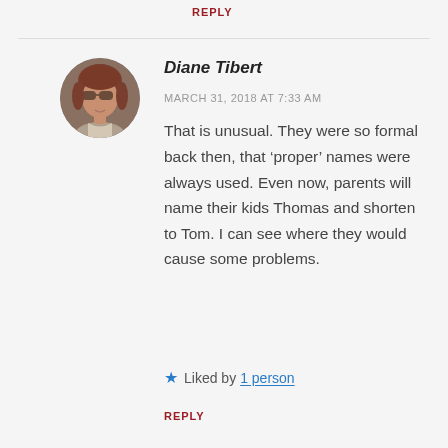REPLY
[Figure (photo): Circular avatar photo of Diane Tibert, a woman with sunglasses and reddish-brown hair]
Diane Tibert
MARCH 31, 2018 AT 7:33 AM
That is unusual. They were so formal back then, that ‘proper’ names were always used. Even now, parents will name their kids Thomas and shorten to Tom. I can see where they would cause some problems.
★ Liked by 1 person
REPLY